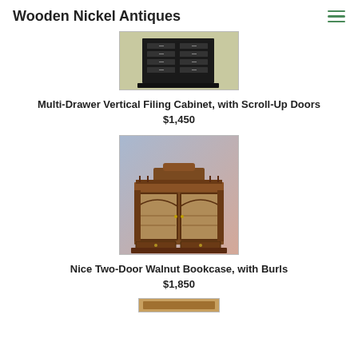Wooden Nickel Antiques
[Figure (photo): Antique multi-drawer vertical filing cabinet with scroll-up doors, shown against a light background.]
Multi-Drawer Vertical Filing Cabinet, with Scroll-Up Doors
$1,450
[Figure (photo): Antique nice two-door walnut bookcase with burls, shown against a blue/pink gradient background.]
Nice Two-Door Walnut Bookcase, with Burls
$1,850
[Figure (photo): Partial view of another antique item at the bottom of the page.]